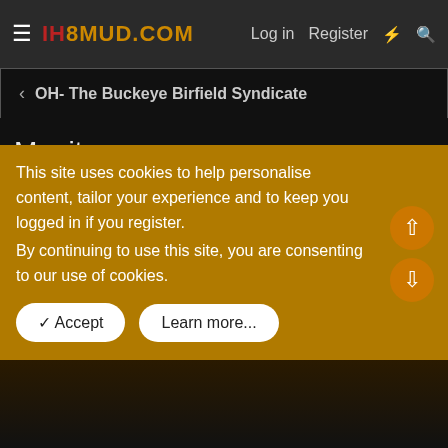IH8MUD.COM — Log in  Register
< OH- The Buckeye Birfield Syndicate
Monitor (1 Viewer)
AKToy · Mar 19, 2006
AKToy
This site uses cookies to help personalise content, tailor your experience and to keep you logged in if you register.
By continuing to use this site, you are consenting to our use of cookies.
✓ Accept    Learn more...